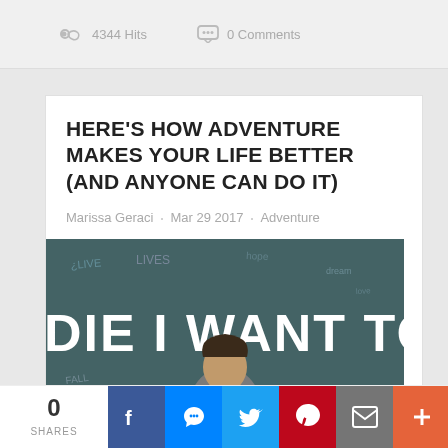4344 Hits  0 Comments
HERE'S HOW ADVENTURE MAKES YOUR LIFE BETTER (AND ANYONE CAN DO IT)
Marissa Geraci · Mar 29 2017 · Adventure
[Figure (photo): Person seen from behind facing a chalkboard wall with graffiti/chalk writings. Large white text visible reading 'DIE I WANT TO.']
0 SHARES